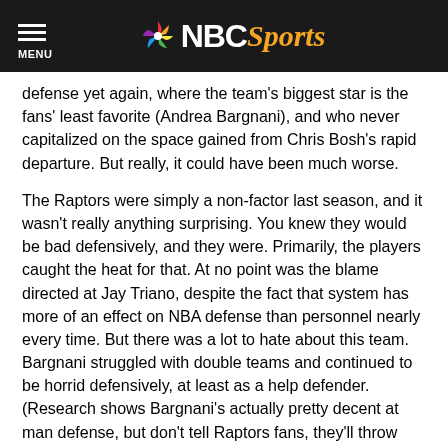NBC Sports
defense yet again, where the team's biggest star is the fans' least favorite (Andrea Bargnani), and who never capitalized on the space gained from Chris Bosh's rapid departure. But really, it could have been much worse.
The Raptors were simply a non-factor last season, and it wasn't really anything surprising. You knew they would be bad defensively, and they were. Primarily, the players caught the heat for that. At no point was the blame directed at Jay Triano, despite the fact that system has more of an effect on NBA defense than personnel nearly every time. But there was a lot to hate about this team. Bargnani struggled with double teams and continued to be horrid defensively, at least as a help defender. (Research shows Bargnani's actually pretty decent at man defense, but don't tell Raptors fans, they'll throw things at you.) Jose Calderon was overpaid still even if